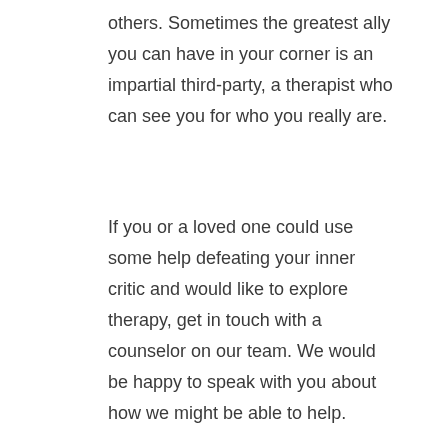others. Sometimes the greatest ally you can have in your corner is an impartial third-party, a therapist who can see you for who you really are.
If you or a loved one could use some help defeating your inner critic and would like to explore therapy, get in touch with a counselor on our team. We would be happy to speak with you about how we might be able to help.
[Figure (photo): A young woman with dark hair looks down with eyes closed while two pairs of hands point fingers at her from both sides, suggesting criticism or blame.]